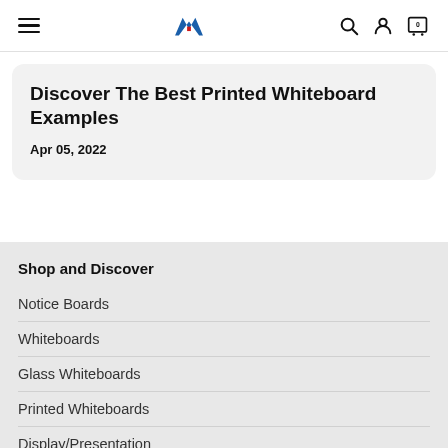Navigation bar with hamburger menu, M logo, search, user, and cart icons
Discover The Best Printed Whiteboard Examples
Apr 05, 2022
Shop and Discover
Notice Boards
Whiteboards
Glass Whiteboards
Printed Whiteboards
Display/Presentation